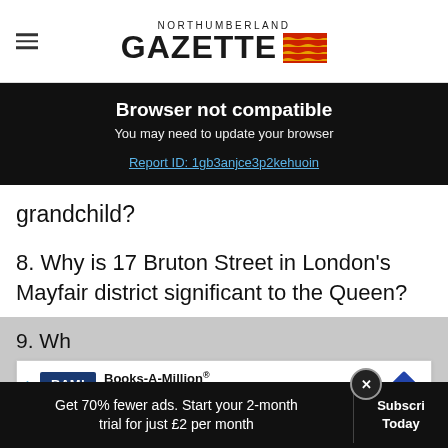NORTHUMBERLAND GAZETTE
Browser not compatible
You may need to update your browser
Report ID: 1gb3anjce3p2kehuoin
grandchild?
8. Why is 17 Bruton Street in London's Mayfair district significant to the Queen?
9. Wh... on July 9, 1982?
[Figure (other): Books-A-Million advertisement banner with BAM logo and navigation arrow icon]
Get 70% fewer ads. Start your 2-month trial for just £2 per month
Subscribe Today